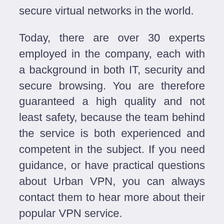security, which is one of the most reliable and secure virtual networks in the world.
Today, there are over 30 experts employed in the company, each with a background in both IT, security and secure browsing. You are therefore guaranteed a high quality and not least safety, because the team behind the service is both experienced and competent in the subject. If you need guidance, or have practical questions about Urban VPN, you can always contact them to hear more about their popular VPN service.
Encryption and features
We have already touched upon encryption, but it is interesting to take a closer look at the